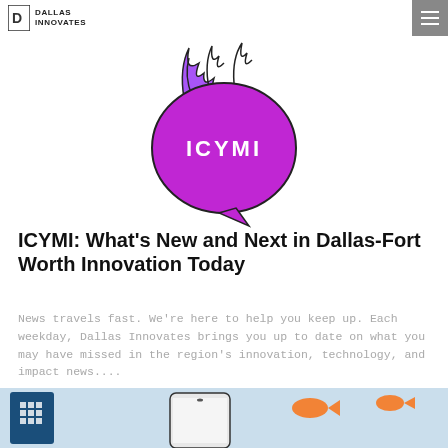DALLAS INNOVATES
[Figure (illustration): ICYMI logo: a speech bubble with 'ICYMI' text in bold letters, surrounded by purple flame/fire illustration on top, drawn in a comic style with black outlines and purple fill]
ICYMI: What’s New and Next in Dallas-Fort Worth Innovation Today
News travels fast. We’re here to help you keep up. Each weekday, Dallas Innovates brings you up to date on what you may have missed in the region’s innovation, technology, and impact news....
[Figure (photo): A hand holding a smartphone with goldfish appearing to leap out of the screen into the air, set against a light blue/grey sky background. Two goldfish are visible flying through the air above the phone.]